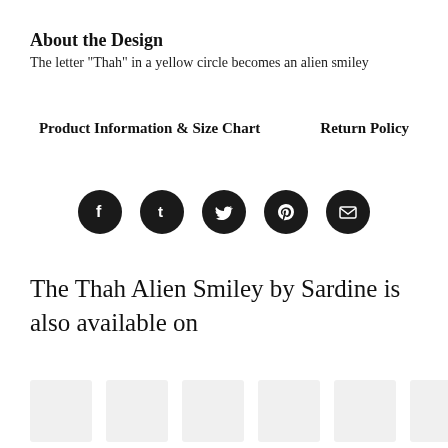About the Design
The letter "Thah" in a yellow circle becomes an alien smiley
Product Information & Size Chart    Return Policy
[Figure (infographic): Row of five dark circular social media icon buttons: Facebook, Tumblr, Twitter, Pinterest, Email]
The Thah Alien Smiley by Sardine is also available on
[Figure (infographic): Row of six light grey product thumbnail placeholder boxes]